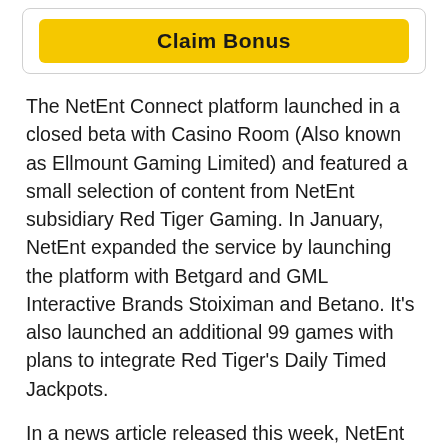[Figure (other): Yellow 'Claim Bonus' button inside a rounded border box]
The NetEnt Connect platform launched in a closed beta with Casino Room (Also known as Ellmount Gaming Limited) and featured a small selection of content from NetEnt subsidiary Red Tiger Gaming. In January, NetEnt expanded the service by launching the platform with Betgard and GML Interactive Brands Stoiximan and Betano. It's also launched an additional 99 games with plans to integrate Red Tiger's Daily Timed Jackpots.
In a news article released this week, NetEnt revealed that it had once again expanded its platform with additional game providers including UK-based developer and aggregator Games Inc, scratch card and puzzle game creator G (Formely known as Gluck Gamevy), and fantasy sports betting provider Scout Gaming Group. NetEnt revealed that it's also added additional Red Tiger content and has launched with more casino operators.